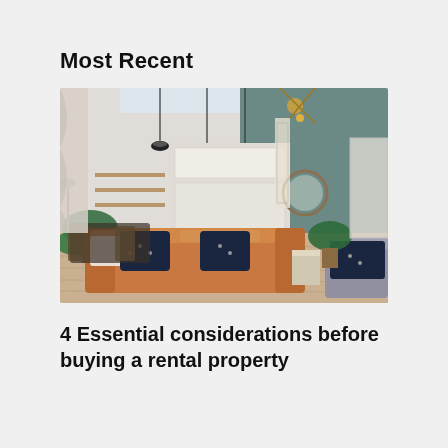Most Recent
[Figure (photo): Interior photo of a modern open-plan living room with a tan leather sofa, dark patterned throw pillows, pendant lights, green accent wall, plants, and an open kitchen in the background with light wood flooring.]
4 Essential considerations before buying a rental property